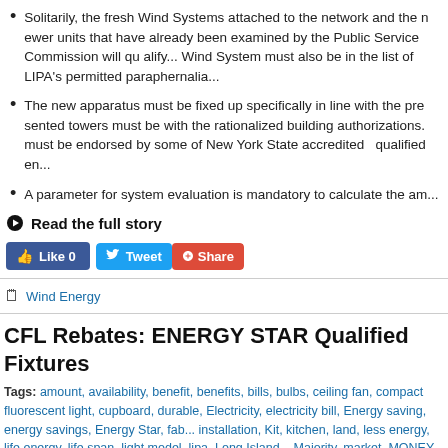Solitarily, the fresh Wind Systems attached to the network and the newer units that have already been examined by the Public Service Commission will qu... Wind System must also be in the list of LIPA's permitted paraphernalia...
The new apparatus must be fixed up specifically in line with the pre... presented towers must be with the rationalized building authorizations. must be endorsed by some of New York State accredited  qualified en...
A parameter for system evaluation is mandatory to calculate the am...
Read the full story
[Figure (screenshot): Social sharing buttons: Like 0 (Facebook), Tweet (Twitter), Share (Google+)]
Wind Energy
CFL Rebates: ENERGY STAR Qualified Fixtures
Tags: amount, availability, benefit, benefits, bills, bulbs, ceiling fan, compact fluorescent light, cupboard, durable, Electricity, electricity bill, Energy saving, energy savings, Energy Star, fab... installation, Kit, kitchen, land, less energy, life energy, life span, light model, lipa, Long Island... Majority, market, MONEY, nbsp, panache, Paris, rebates, Reduce, salient features, star com... winter season, winter seasons